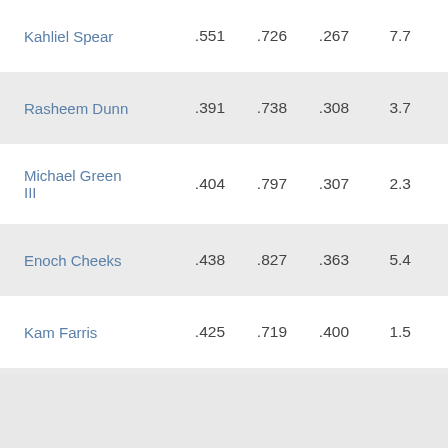| Player | FG% | FT% | 3P% | REB | AST | PTS |
| --- | --- | --- | --- | --- | --- | --- |
| Kahliel Spear | .551 | .726 | .267 | 7.7 | 1.6 | 14.7 |
| Rasheem Dunn | .391 | .738 | .308 | 3.7 | 4.1 | 12.8 |
| Michael Green III | .404 | .797 | .307 | 2.3 | 3.3 | 10.4 |
| Enoch Cheeks | .438 | .827 | .363 | 5.4 | 2.6 | 9.2 |
| Kam Farris | .425 | .719 | .400 | 1.5 | 1.3 | 9.2 |
| Justin Winston | .467 | .885 | .321 | 3.0 | 0.8 | 8.7 |